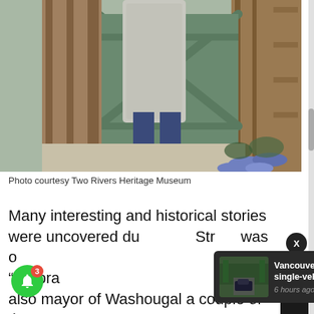[Figure (photo): Person standing in front of a green wooden gate, wearing a grey speckled coat, dark jeans, and brown tall boots. Blue flowers visible in the lower right corner.]
Photo courtesy Two Rivers Heritage Museum
Many interesting and historical stories were uncovered du[ring the research.] Str[ee]t was o[ver...] “He pra[cticed...] also mayor of Washougal a couple of times.
[Figure (screenshot): News notification card: 'Vancouver man killed in single-vehicle collision in' with timestamp '6 hours ago' and a thumbnail of a road with a vehicle.]